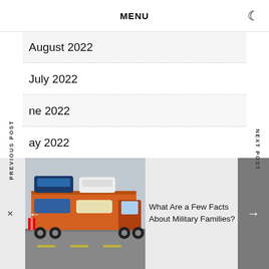MENU
August 2022
July 2022
June 2022
May 2022
April 2022
March 2022
[Figure (photo): Cars loaded on a car transport truck/carrier on a road]
What Are a Few Facts About Military Families?